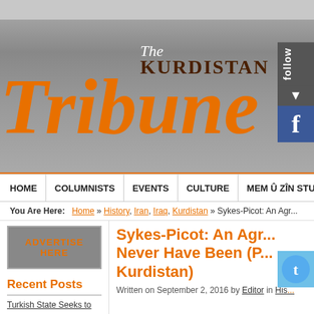[Figure (logo): The Kurdistan Tribune newspaper logo with large orange italic 'Tribune' text and dark brown 'KURDISTAN' text on grey gradient background]
HOME | COLUMNISTS | EVENTS | CULTURE | MEM Û ZÎN STUDY
You Are Here: Home » History, Iran, Iraq, Kurdistan » Sykes-Picot: An Agr...
[Figure (other): Advertise Here button - grey background with orange bold text]
Recent Posts
Turkish State Seeks to
Sykes-Picot: An Agr... Never Have Been (P... Kurdistan)
Written on September 2, 2016 by Editor in His...